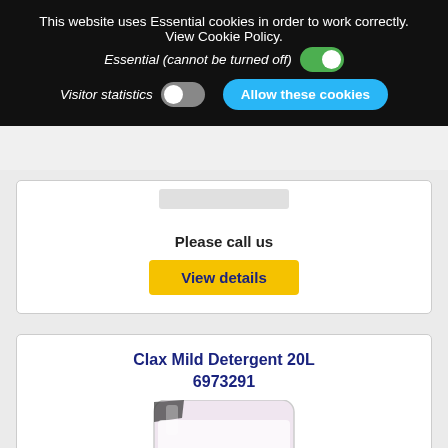This website uses Essential cookies in order to work correctly. View Cookie Policy.
Essential (cannot be turned off)
Visitor statistics
Allow these cookies
Please call us
View details
Clax Mild Detergent 20L
6973291
[Figure (photo): Partial view of a white/pink product container (Clax Mild Detergent 20L) cut off at the bottom of the page]